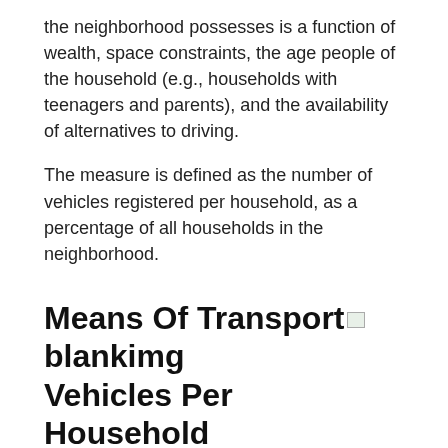the neighborhood possesses is a function of wealth, space constraints, the age people of the household (e.g., households with teenagers and parents), and the availability of alternatives to driving.
The measure is defined as the number of vehicles registered per household, as a percentage of all households in the neighborhood.
Means Of Transport Vehicles Per Household
[Figure (other): Blank placeholder images appearing inline and as block next to section headers]
Migration & Mobility